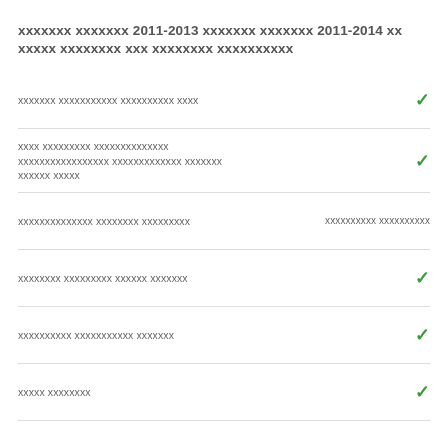xxxxxxx xxxxxxx 2011-2013 xxxxxxx xxxxxxx 2011-2014 xx xxxxx xxxxxxxx xxx xxxxxxxx xxxxxxxxxx
xxxxxxx xxxxxxxxxxx xxxxxxxxxx xxxx
xxxx xxxxxxxxx xxxxxxxxxxxxxx xxxxxxxxxxxxxxxxx xxxxxxxxxxxxx xxxxxxx xxxxxx xxxxx
xxxxxxxxxxxxxx xxxxxxxx xxxxxxxxx
xxxxxxxx xxxxxxxxx xxxxxx xxxxxxx
xxxxxxxxxx xxxxxxxxxxx xxxxxxx
xxxxx xxxxxxxx